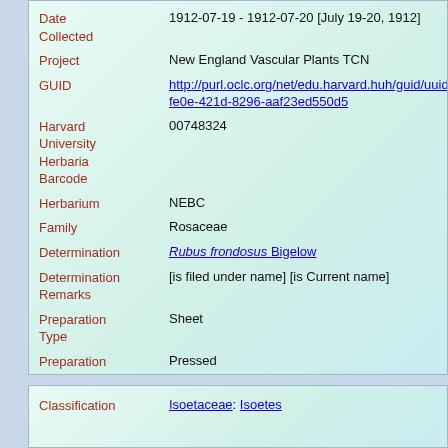| Field | Value |
| --- | --- |
| Date Collected | 1912-07-19 - 1912-07-20 [July 19-20, 1912] |
| Project | New England Vascular Plants TCN |
| GUID | http://purl.oclc.org/net/edu.harvard.huh/guid/uuid/70e fe0e-421d-8296-aaf23ed550d5 |
| Harvard University Herbaria Barcode | 00748324 |
| Herbarium | NEBC |
| Family | Rosaceae |
| Determination | Rubus frondosus Bigelow |
| Determination Remarks | [is filed under name] [is Current name] |
| Preparation Type | Sheet |
| Preparation Method | Pressed |
| Field | Value |
| --- | --- |
| Classification | Isoetaceae: Isoetes |